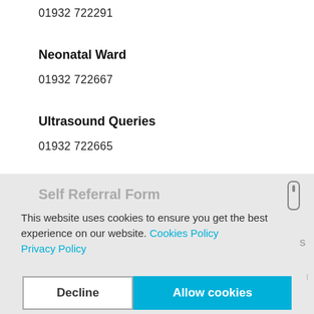01932 722291
Neonatal Ward
01932 722667
Ultrasound Queries
01932 722665
This website uses cookies to ensure you get the best experience on our website. Cookies Policy Privacy Policy
Decline
Allow cookies